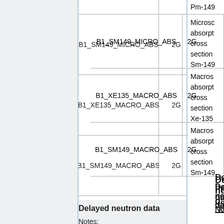| Name | Type | Description |
| --- | --- | --- |
|  |  | Pm-149 |
| B1_SM149_MICRO_ABS | 2G | Microscopic absorption cross section Sm-149 |
| B1_XE135_MACRO_ABS | 2G | Macroscopic absorption cross section Xe-135 |
| B1_SM149_MACRO_ABS | 2G | Macroscopic absorption cross section Sm-149 |
Delayed neutron data
Notes: